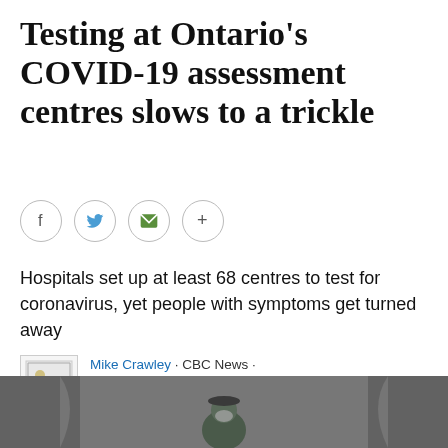Testing at Ontario's COVID-19 assessment centres slows to a trickle
[Figure (other): Social sharing buttons: Facebook, Twitter, Email, More]
Hospitals set up at least 68 centres to test for coronavirus, yet people with symptoms get turned away
Mike Crawley · CBC News · Posted: Apr 09, 2020 12:57 PM ET | Last Updated: April 9, 2020
[Figure (photo): Photo of a person in protective gear/mask at what appears to be a COVID-19 assessment centre tent]